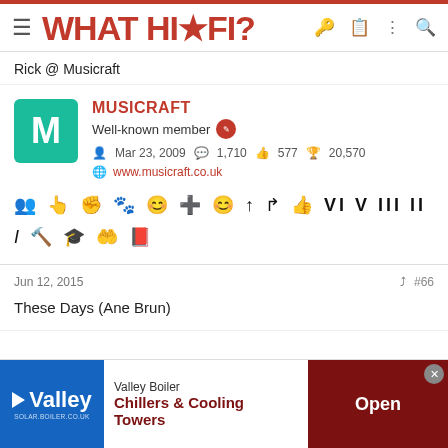WHAT HI-FI?
Rick @ Musicraft
MUSICRAFT
Well-known member
Mar 23, 2009  1,710  577  20,570
www.musicraft.co.uk
Jun 12, 2015  #66
These Days (Ane Brun)
[Figure (infographic): Valley Boiler advertisement banner: Chillers & Cooling Towers with Open button]